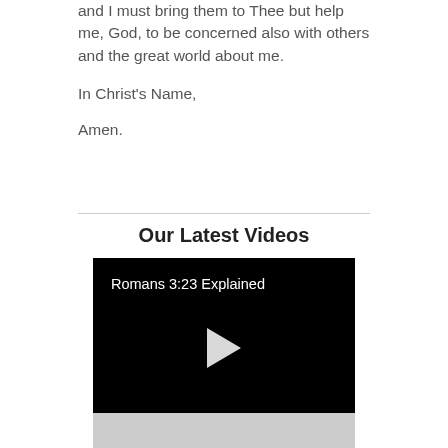and I must bring them to Thee but help me, God, to be concerned also with others and the great world about me.
In Christ's Name,
Amen.
Our Latest Videos
[Figure (screenshot): Video player with black background showing title 'Romans 3:23 Explained' and a white play button triangle in the center]